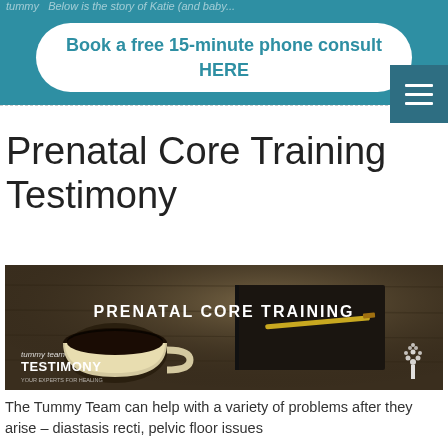Book a free 15-minute phone consult HERE
Prenatal Core Training Testimony
[Figure (photo): Promotional image showing a coffee cup, notebook, and pen on a wooden table with text overlay reading 'PRENATAL CORE TRAINING' and 'tummy team TESTIMONY' branding with a tree logo]
The Tummy Team can help with a variety of problems after they arise – diastasis recti, pelvic floor issues